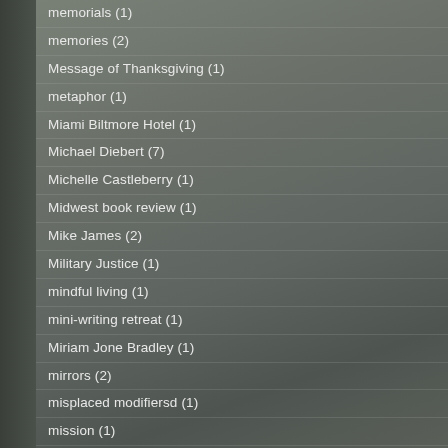memorials (1)
memories (2)
Message of Thanksgiving (1)
metaphor (1)
Miami Biltmore Hotel (1)
Michael Diebert (7)
Michelle Castleberry (1)
Midwest book review (1)
Mike James (2)
Military Justice (1)
mindful living (1)
mini-writing retreat (1)
Miriam Jone Bradley (1)
mirrors (2)
misplaced modifiersd (1)
mission (1)
mission of Writers Circle around the Table (1)
Monsanto (1)
moonlight (1)